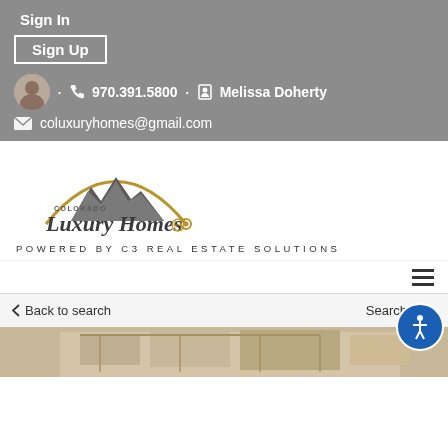Sign In
Sign Up
970.391.5800 · Melissa Doherty
coluxuryhomes@gmail.com
[Figure (logo): Colorado Luxury Homes logo with mountain graphic and gold arch]
POWERED BY C3 REAL ESTATE SOLUTIONS
Back to search
Search si...
[Figure (photo): Partial view of a building exterior at bottom of page]